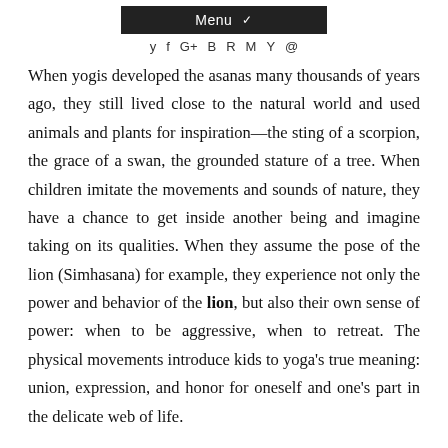Menu
When yogis developed the asanas many thousands of years ago, they still lived close to the natural world and used animals and plants for inspiration—the sting of a scorpion, the grace of a swan, the grounded stature of a tree. When children imitate the movements and sounds of nature, they have a chance to get inside another being and imagine taking on its qualities. When they assume the pose of the lion (Simhasana) for example, they experience not only the power and behavior of the lion, but also their own sense of power: when to be aggressive, when to retreat. The physical movements introduce kids to yoga's true meaning: union, expression, and honor for oneself and one's part in the delicate web of life.